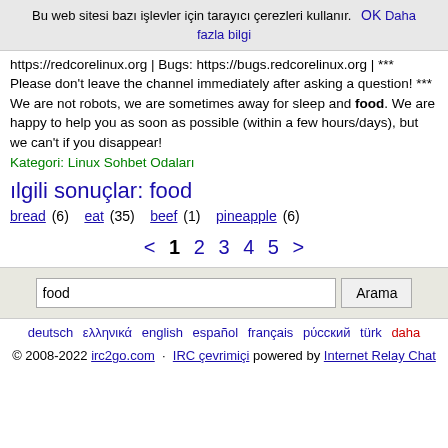Bu web sitesi bazı işlevler için tarayıcı çerezleri kullanır. OK Daha fazla bilgi
https://redcorelinux.org | Bugs: https://bugs.redcorelinux.org | *** Please don't leave the channel immediately after asking a question! *** We are not robots, we are sometimes away for sleep and food. We are happy to help you as soon as possible (within a few hours/days), but we can't if you disappear!
Kategori: Linux Sohbet Odaları
ılgili sonuçlar: food
bread (6)   eat (35)   beef (1)   pineapple (6)
< 1 2 3 4 5 >
food  Arama
deutsch  ελληνικά  english  español  français  рύсский  türk  daha
© 2008-2022 irc2go.com · IRC çevrimiçi powered by Internet Relay Chat